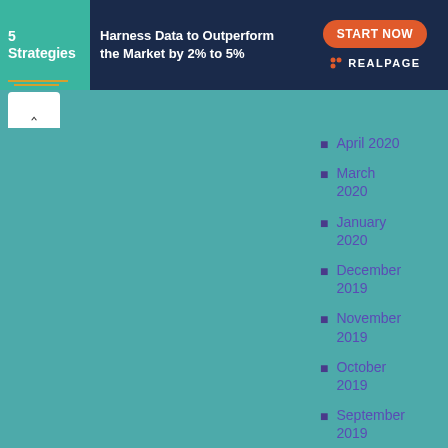[Figure (infographic): RealPage advertisement banner: teal left panel with '5 Strategies' text and gold lines, dark navy middle with 'Harness Data to Outperform the Market by 2% to 5%', right panel with orange 'START NOW' button and RealPage logo]
April 2020
March 2020
January 2020
December 2019
November 2019
October 2019
September 2019
August 2019
December 2018